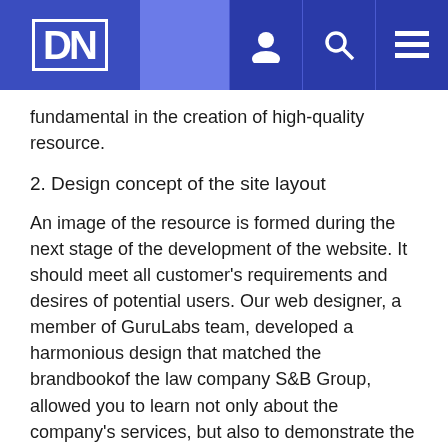DN [logo] [user icon] [search icon] [menu icon]
fundamental in the creation of high-quality resource.
2. Design concept of the site layout
An image of the resource is formed during the next stage of the development of the website. It should meet all customer's requirements and desires of potential users. Our web designer, a member of GuruLabs team, developed a harmonious design that matched the brandbookof the law company S&B Group, allowed you to learn not only about the company's services, but also to demonstrate the competence of employees. Primary colors are red and white.
3. Development, testing and launch of the site